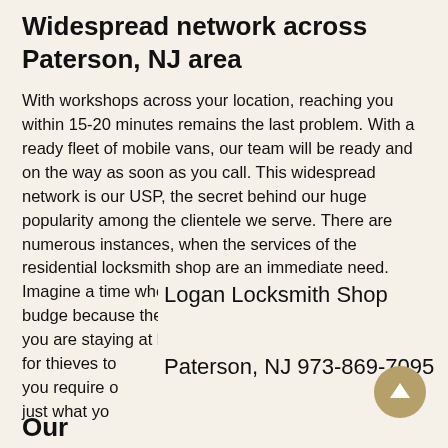Widespread network across Paterson, NJ area
With workshops across your location, reaching you within 15-20 minutes remains the last problem. With a ready fleet of mobile vans, our team will be ready and on the way as soon as you call. This widespread network is our USP, the secret behind our huge popularity among the clientele we serve. There are numerous instances, when the services of the residential locksmith shop are an immediate need. Imagine a time when the entrance door refuses to budge because the key jams inside the lock. Maybe, you are staying at ho for thieves to you require o just what yo
Logan Locksmith Shop
Paterson, NJ 973-869-7095
Our